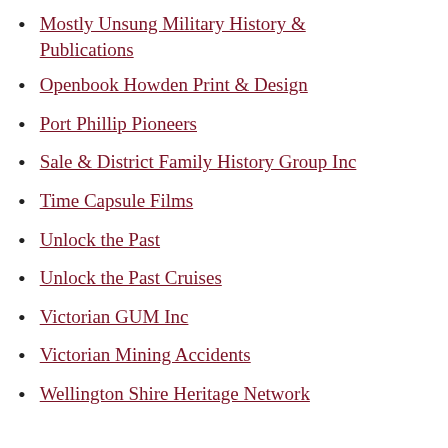Mostly Unsung Military History & Publications
Openbook Howden Print & Design
Port Phillip Pioneers
Sale & District Family History Group Inc
Time Capsule Films
Unlock the Past
Unlock the Past Cruises
Victorian GUM Inc
Victorian Mining Accidents
Wellington Shire Heritage Network